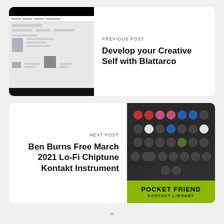[Figure (screenshot): Screenshot of Blattarco website layout showing a blog/portfolio page with navigation bar, content blocks, and images]
PREVIOUS POST
Develop your Creative Self with Blattarco
NEXT POST
Ben Burns Free March 2021 Lo-Fi Chiptune Kontakt Instrument
[Figure (photo): Photo of a black keyboard/synthesizer controller with colored buttons labeled Pocket Friend Kontakt Library in green at the bottom]